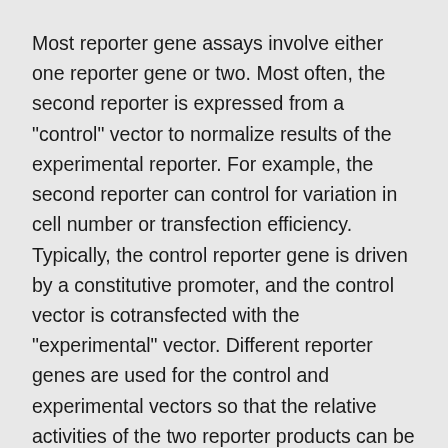Most reporter gene assays involve either one reporter gene or two. Most often, the second reporter is expressed from a "control" vector to normalize results of the experimental reporter. For example, the second reporter can control for variation in cell number or transfection efficiency. Typically, the control reporter gene is driven by a constitutive promoter, and the control vector is cotransfected with the "experimental" vector. Different reporter genes are used for the control and experimental vectors so that the relative activities of the two reporter products can be assayed individually. Visit the Reporter Assay Selection Guide for more information on how to select the best reporter assay for your needs.